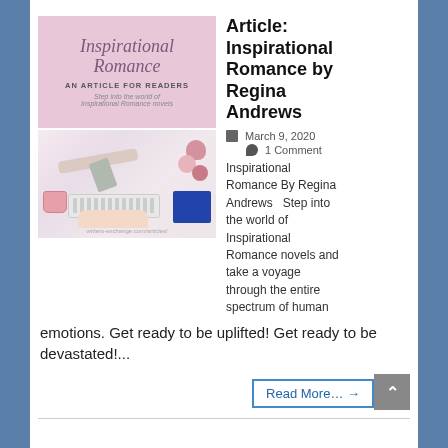[Figure (illustration): Book cover for 'Inspirational Romance: An Article for Readers' with pink background and script font, plus a photo of a desk with keyboard, hands typing, roses, coffee cup, scissors, and ribbon]
Article: Inspirational Romance by Regina Andrews
March 9, 2020
1 Comment
Inspirational Romance By Regina Andrews   Step into the world of Inspirational Romance novels and take a voyage through the entire spectrum of human emotions. Get ready to be uplifted! Get ready to be devastated!...
Read More… →